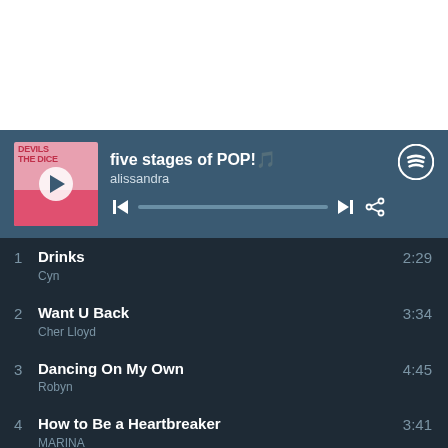[Figure (screenshot): Spotify playlist player showing 'five stages of POP!' by alissandra with album art and playback controls]
1  Drinks  Cyn  2:29
2  Want U Back  Cher Lloyd  3:34
3  Dancing On My Own  Robyn  4:45
4  How to Be a Heartbreaker  MARINA  3:41
5  Crying in the Club  Camila Cabello  3:36